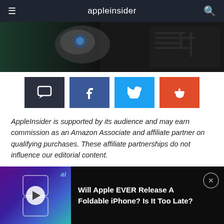appleinsider
[Figure (photo): Dark technology/hardware background image]
[Figure (infographic): Share buttons row: comment (dark), Facebook (blue), Twitter (light blue), Reddit (orange)]
AppleInsider is supported by its audience and may earn commission as an Amazon Associate and affiliate partner on qualifying purchases. These affiliate partnerships do not influence our editorial content.
Apple's iPhone camera may improve the zoom
[Figure (screenshot): Ad banner: Will Apple EVER Release A Foldable iPhone? Is It Too Late? with thumbnail showing foldable phone concept]